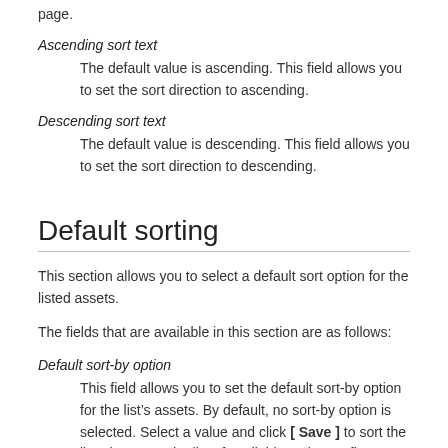page.
Ascending sort text
The default value is ascending. This field allows you to set the sort direction to ascending.
Descending sort text
The default value is descending. This field allows you to set the sort direction to descending.
Default sorting
This section allows you to select a default sort option for the listed assets.
The fields that are available in this section are as follows:
Default sort-by option
This field allows you to set the default sort-by option for the list’s assets. By default, no sort-by option is selected. Select a value and click [ Save ] to sort the listed assets. The list of available options reflects